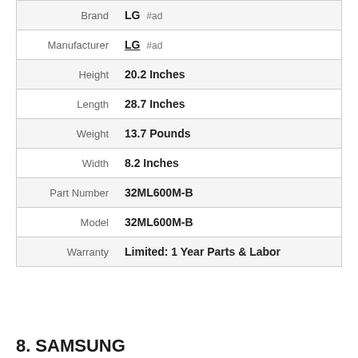| Attribute | Value |
| --- | --- |
| Brand | LG #ad |
| Manufacturer | LG #ad |
| Height | 20.2 Inches |
| Length | 28.7 Inches |
| Weight | 13.7 Pounds |
| Width | 8.2 Inches |
| Part Number | 32ML600M-B |
| Model | 32ML600M-B |
| Warranty | Limited: 1 Year Parts & Labor |
As an Amazon Associate I earn from qualifying purchases. This website uses the only necessary cookies to ensure you get the best experience on our website. More information
8. SAMSUNG